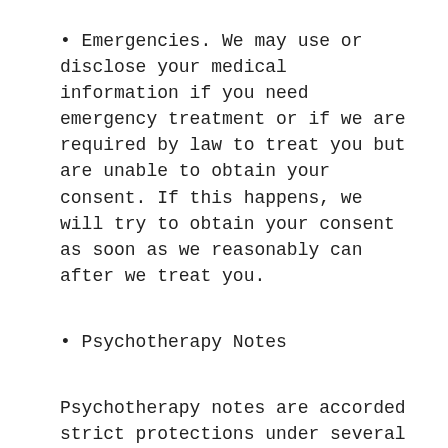• Emergencies. We may use or disclose your medical information if you need emergency treatment or if we are required by law to treat you but are unable to obtain your consent. If this happens, we will try to obtain your consent as soon as we reasonably can after we treat you.
• Psychotherapy Notes
Psychotherapy notes are accorded strict protections under several laws and regulations. Therefore, we will disclosure psychotherapy notes only upon your written